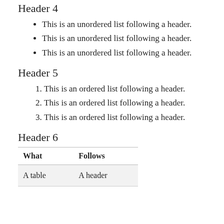Header 4
This is an unordered list following a header.
This is an unordered list following a header.
This is an unordered list following a header.
Header 5
This is an ordered list following a header.
This is an ordered list following a header.
This is an ordered list following a header.
Header 6
| What | Follows |
| --- | --- |
| A table | A header |